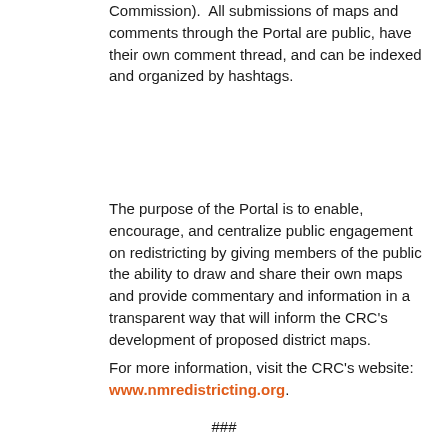Commission).  All submissions of maps and comments through the Portal are public, have their own comment thread, and can be indexed and organized by hashtags.
The purpose of the Portal is to enable, encourage, and centralize public engagement on redistricting by giving members of the public the ability to draw and share their own maps and provide commentary and information in a transparent way that will inform the CRC's development of proposed district maps.
For more information, visit the CRC's website: www.nmredistricting.org.
###